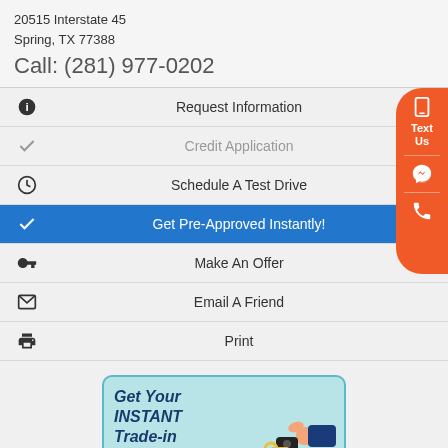20515 Interstate 45
Spring, TX 77388
Call: (281) 977-0202
Request Information
Credit Application
Schedule A Test Drive
Get Pre-Approved Instantly!
Make An Offer
Email A Friend
Print
[Figure (infographic): Promotional banner: Get Your INSTANT Trade-in Appraisal with hand holding car key illustration]